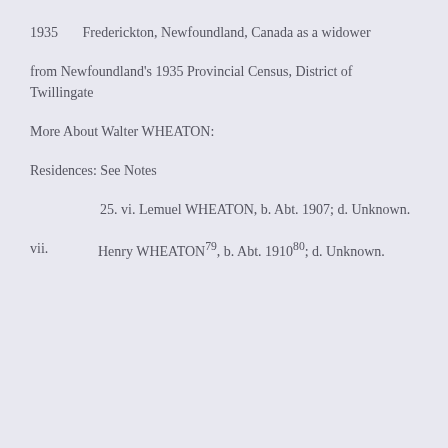1935       Frederickton, Newfoundland, Canada as a widower
from Newfoundland's 1935 Provincial Census, District of Twillingate
More About Walter WHEATON:
Residences: See Notes
25. vi. Lemuel WHEATON, b. Abt. 1907; d. Unknown.
vii.    Henry WHEATON^79, b. Abt. 1910^80; d. Unknown.